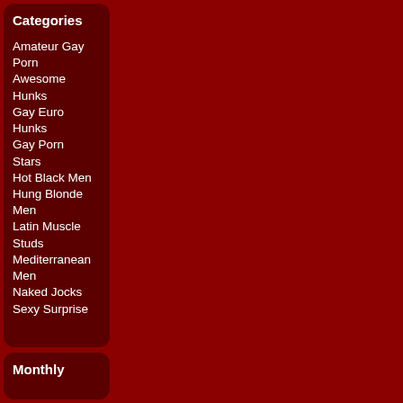Categories
Amateur Gay Porn
Awesome Hunks
Gay Euro Hunks
Gay Porn Stars
Hot Black Men
Hung Blonde Men
Latin Muscle Studs
Mediterranean Men
Naked Jocks
Sexy Surprise
Monthly